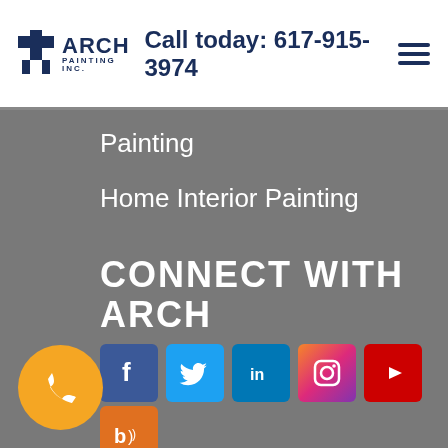ARCH PAINTING INC. — Call today: 617-915-3974
Painting
Home Interior Painting
CONNECT WITH ARCH
[Figure (logo): Social media icons: Facebook, Twitter, LinkedIn, Instagram, YouTube, Blog]
[Figure (logo): LEAD-SAFE RENOVATION DLS CONTRACTOR badge]
[Figure (logo): Orange phone call button]